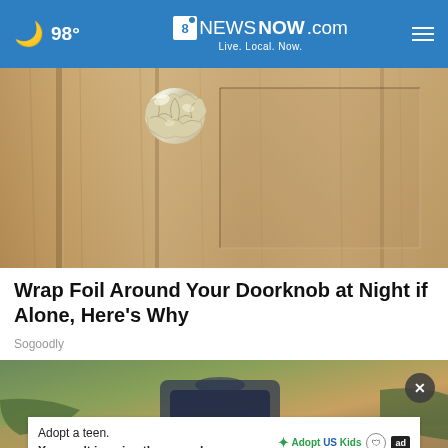98° 8NewsNow.com Live. Local. Now.
[Figure (photo): Close-up photo of a wooden door with aluminum foil wrapped around the doorknob]
Wrap Foil Around Your Doorknob at Night if Alone, Here's Why
Sogoodly
[Figure (photo): Photo of items including what appears to be a bag or luggage on a wooden floor, with an advertisement overlay for Adopt US Kids]
Adopt a teen. You can't imagine the reward.